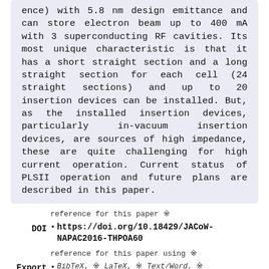ence) with 5.8 nm design emittance and can store electron beam up to 400 mA with 3 superconducting RF cavities. Its most unique characteristic is that it has a short straight section and a long straight section for each cell (24 straight sections) and up to 20 insertion devices can be installed. But, as the installed insertion devices, particularly in-vacuum insertion devices, are sources of high impedance, these are quite challenging for high current operation. Current status of PLSII operation and future plans are described in this paper.
reference for this paper ※
DOI • https://doi.org/10.18429/JACoW-NAPAC2016-THPOA60
reference for this paper using ※
Export • BibTeX, ※ LaTeX, ※ Text/Word, ※ RIS, ※ EndNote (xml)